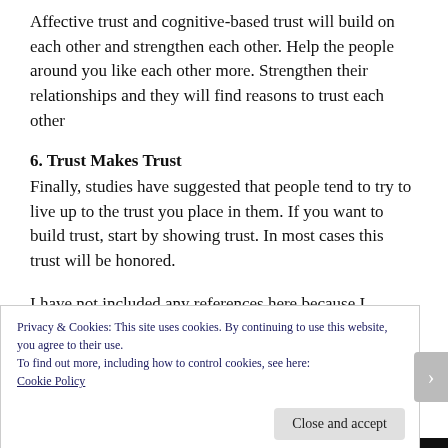Affective trust and cognitive-based trust will build on each other and strengthen each other. Help the people around you like each other more. Strengthen their relationships and they will find reasons to trust each other
6. Trust Makes Trust
Finally, studies have suggested that people tend to try to live up to the trust you place in them. If you want to build trust, start by showing trust. In most cases this trust will be honored.
I have not included any references here because I
Privacy & Cookies: This site uses cookies. By continuing to use this website, you agree to their use.
To find out more, including how to control cookies, see here:
Cookie Policy